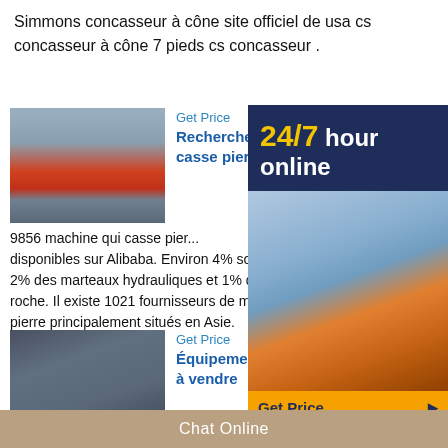Simmons concasseur à cône site officiel de usa cs concasseur à cône 7 pieds cs concasseur .
[Figure (photo): Industrial trucks/machinery photo]
Get Price
Rechercher les meilleurs m... casse pierre ...
9856 machine qui casse pier... disponibles sur Alibaba. Environ 4% sont des co... 2% des marteaux hydrauliques et 1% dessépar... roche. Il existe 1021 fournisseurs de machine q... pierre principalement situés en Asie.
[Figure (photo): Industrial crushing equipment photo]
Get Price
Équipement de concassage... à vendre
2019-12-9    L'utilisation de machine de criblage pour écarter l'ensemble pierre convenable, tandis que les pierres ne conviennent pas retourner à la machine
[Figure (infographic): 24/7 hour online advertisement banner with Get Price and Quoting Online buttons]
Chat Online